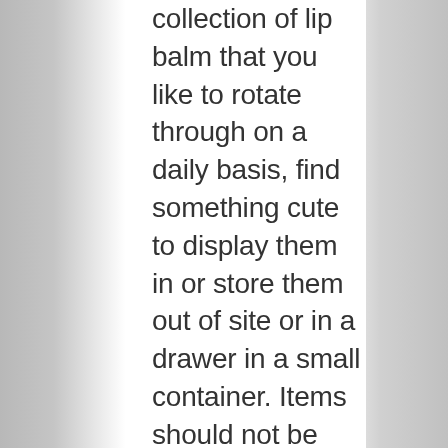collection of lip balm that you like to rotate through on a daily basis, find something cute to display them in or store them out of site or in a drawer in a small container. Items should not be loose or intermingling unless they are commonly used together. Soft